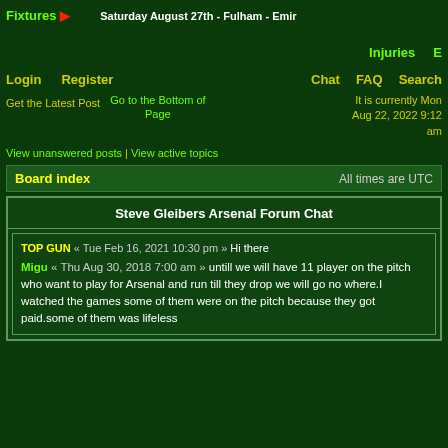Fixtures ▶  Saturday August 27th - Fulham - Emir
Injuries  E
Login   Register   Chat   FAQ   Search
Get the Latest Post   Go to the Bottom of Page   It is currently Mon Aug 22, 2022 9:12 am
View unanswered posts | View active topics
Board index   All times are UTC
Steve Gleibers Arsenal Forum Chat
TOP GUN « Tue Feb 16, 2021 10:30 pm »  Hi there
Migu « Thu Aug 30, 2018 7:00 am »  untill we will have 11 player on the pitch who want to play for Arsenal and run till they drop we will go no where.I watched the games some of them were on the pitch because they got paid.some of them was lifeless